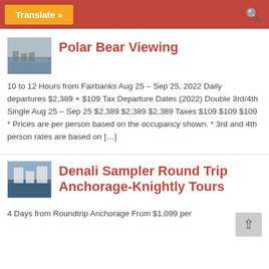Translate »
Polar Bear Viewing
10 to 12 Hours from Fairbanks Aug 25 – Sep 25, 2022 Daily departures $2,389 + $109 Tax Departure Dates (2022) Double 3rd/4th Single Aug 25 – Sep 25 $2,389 $2,389 $2,389 Taxes $109 $109 $109 * Prices are per person based on the occupancy shown. * 3rd and 4th person rates are based on […]
Denali Sampler Round Trip Anchorage-Knightly Tours
4 Days from Roundtrip Anchorage From $1,099 per